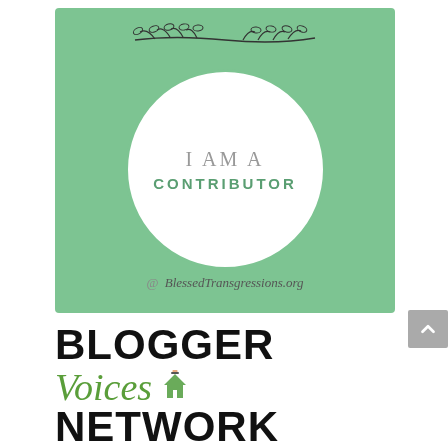[Figure (illustration): A green square badge with a white circle in the center. Inside the circle: text 'I AM A' in gray serif letters and 'CONTRIBUTOR' in green sans-serif letters. A hand-drawn vine decoration at the top. At the bottom of the badge: '@ BlessedTransgressions.org' in italic text.]
[Figure (logo): Blogger Voices Network logo. 'BLOGGER' in large bold black text, 'Voices' in italic green script with a small house/person icon, 'NETWORK' in large bold black text (partially visible).]